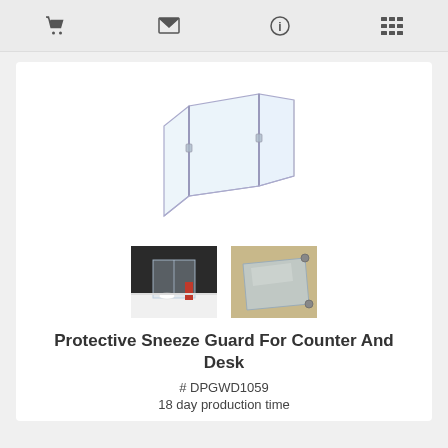[navigation icons: cart, email, info, list]
[Figure (photo): Main product image: transparent acrylic tri-fold sneeze guard / protective barrier, folded open, shown from a three-quarter angle. Two smaller thumbnail photos below: left shows the sneeze guard in use on a white counter with red flowers and bowl; right shows a flat acrylic panel with corner hardware.]
Protective Sneeze Guard For Counter And Desk
# DPGWD1059
18 day production time